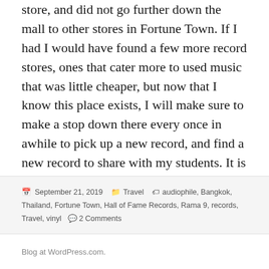store, and did not go further down the mall to other stores in Fortune Town. If I had I would have found a few more record stores, ones that cater more to used music that was little cheaper, but now that I know this place exists, I will make sure to make a stop down there every once in awhile to pick up a new record, and find a new record to share with my students. It is a must go place to any audiophile that makes it out to Bangkok, and I highly recommend the voyage there.
Posted on September 21, 2019  Categories Travel  Tags audiophile, Bangkok, Thailand, Fortune Town, Hall of Fame Records, Rama 9, records, Travel, vinyl  2 Comments
Blog at WordPress.com.